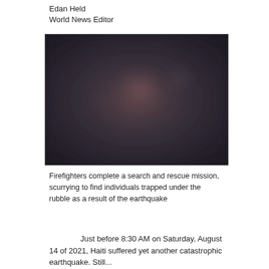Edan Held
World News Editor
[Figure (photo): Blurred photograph of firefighters completing a search and rescue mission in rubble, dark tones with a reddish blur in the center.]
Firefighters complete a search and rescue mission, scurrying to find individuals trapped under the rubble as a result of the earthquake
Just before 8:30 AM on Saturday, August 14 of 2021, Haiti suffered yet another catastrophic earthquake. Still...